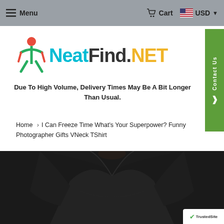Menu  Cart  USD
[Figure (logo): NeatFind.NET logo with colorful stick figure icon]
Due To High Volume, Delivery Times May Be A Bit Longer Than Usual.
Home > I Can Freeze Time What's Your Superpower? Funny Photographer Gifts VNeck TShirt
[Figure (photo): Black V-neck t-shirt on a person, cropped showing torso]